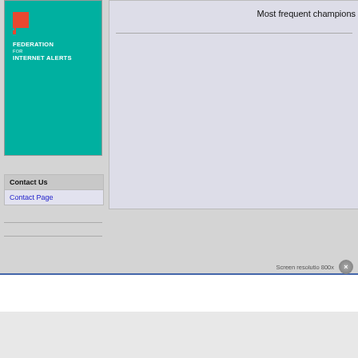[Figure (logo): Federation for Internet Alerts logo — teal/green background with white flag icon and white text reading FEDERATION FOR INTERNET ALERTS]
Most frequent champions
| Contact Us |
| --- |
| Contact Page |
Screen resolution 800x
[Figure (other): Close button (X) circle icon]